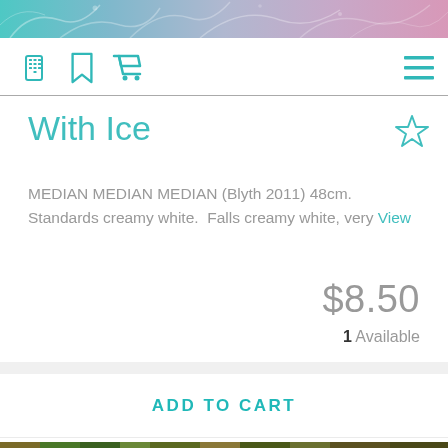[Figure (illustration): Top decorative banner with floral/botanical pattern in teal, blue, purple, and pink gradient]
Navigation bar with phone icon, bookmark icon, shopping cart icon, and hamburger menu icon
With Ice
MEDIAN MEDIAN MEDIAN (Blyth 2011) 48cm. Standards creamy white. Falls creamy white, very View
$8.50
1 Available
ADD TO CART
[Figure (photo): Bottom strip showing plants/garden with green leaves, gravel and soil]